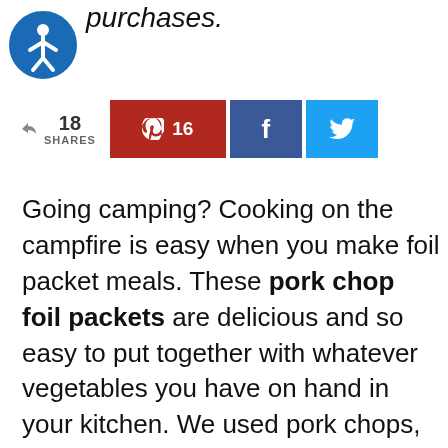purchases.
[Figure (logo): Blue circle accessibility icon with white person figure]
[Figure (infographic): Social share bar showing 18 shares, Pinterest 16, Facebook, Twitter buttons]
Going camping? Cooking on the campfire is easy when you make foil packet meals. These pork chop foil packets are delicious and so easy to put together with whatever vegetables you have on hand in your kitchen. We used pork chops, fresh green beans, onions, and mushrooms. It was a great meal for big appetites!